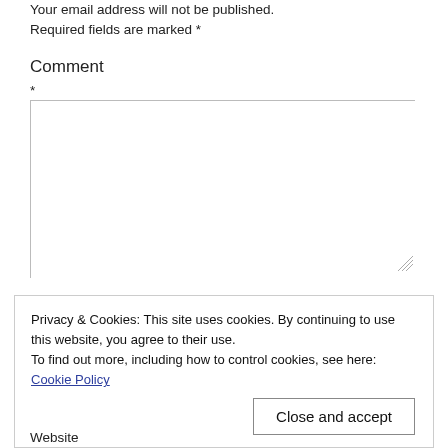Your email address will not be published. Required fields are marked *
Comment
*
[Figure (other): Empty comment textarea input box]
Privacy & Cookies: This site uses cookies. By continuing to use this website, you agree to their use.
To find out more, including how to control cookies, see here: Cookie Policy
Close and accept
Website